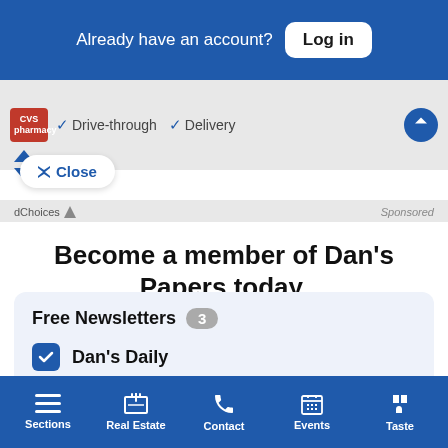Already have an account? Log in
[Figure (screenshot): Screenshot strip showing a pharmacy listing with Drive-through and Delivery checkmarks and a blue direction arrow]
✓ Drive-through   ✓ Delivery
✓ Close
dChoices   Sponsored
Become a member of Dan's Papers today.
Create your free custom profile to get newsletters and exclusive event invites.
Free Newsletters 3
Dan's Daily
Dan's Hamptons Insider
Sections   Real Estate   Contact   Events   Taste